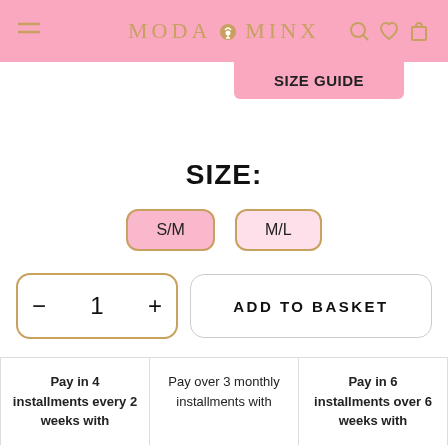MODA MINX
SIZE GUIDE
SIZE:
S/M
M/L
— 1 +
ADD TO BASKET
Pay in 4 installments every 2 weeks with
Pay over 3 monthly installments with
Pay in 6 installments over 6 weeks with